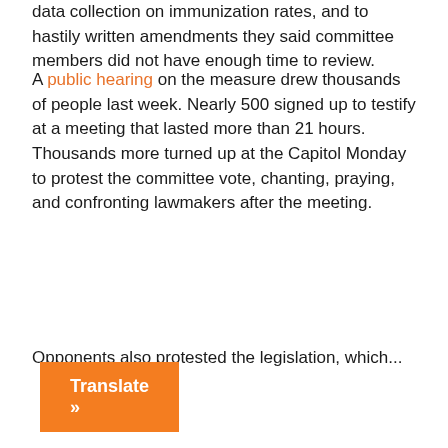data collection on immunization rates, and to hastily written amendments they said committee members did not have enough time to review.
A public hearing on the measure drew thousands of people last week. Nearly 500 signed up to testify at a meeting that lasted more than 21 hours. Thousands more turned up at the Capitol Monday to protest the committee vote, chanting, praying, and confronting lawmakers after the meeting.
Opponents also protested the legislation, which...
Translate »